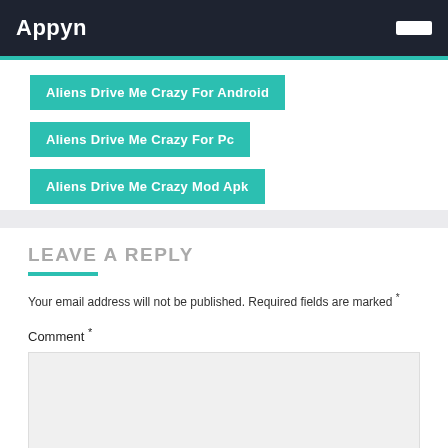Appyn
Aliens Drive Me Crazy For Android
Aliens Drive Me Crazy For Pc
Aliens Drive Me Crazy Mod Apk
LEAVE A REPLY
Your email address will not be published. Required fields are marked *
Comment *